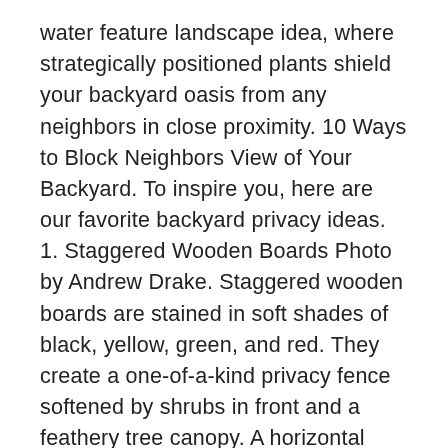water feature landscape idea, where strategically positioned plants shield your backyard oasis from any neighbors in close proximity. 10 Ways to Block Neighbors View of Your Backyard. To inspire you, here are our favorite backyard privacy ideas. 1. Staggered Wooden Boards Photo by Andrew Drake. Staggered wooden boards are stained in soft shades of black, yellow, green, and red. They create a one-of-a-kind privacy fence softened by shrubs in front and a feathery tree canopy. A horizontal fence is among the most popular privacy fencing ideas for the contemporary backyard. Wooden fences can be produced from several types of wood in line with the requirement. Lattice wooden fences wind up being very valuable for practically any garden. At the top of many wishlists: more privacy. Especially